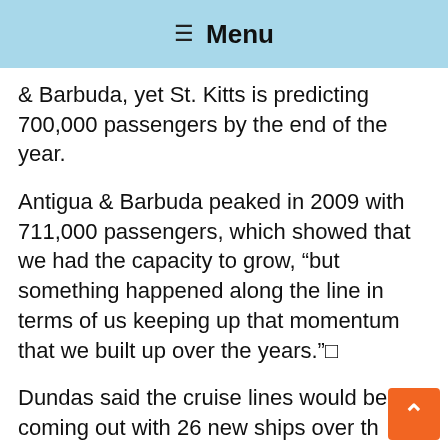Menu
& Barbuda, yet St. Kitts is predicting 700,000 passengers by the end of the year.
Antigua & Barbuda peaked in 2009 with 711,000 passengers, which showed that we had the capacity to grow, “but something happened along the line in terms of us keeping up that momentum that we built up over the years.”□
Dundas said the cruise lines would be coming out with 26 new ships over the next five years, and the country should be ready to benefit from the multi-billion